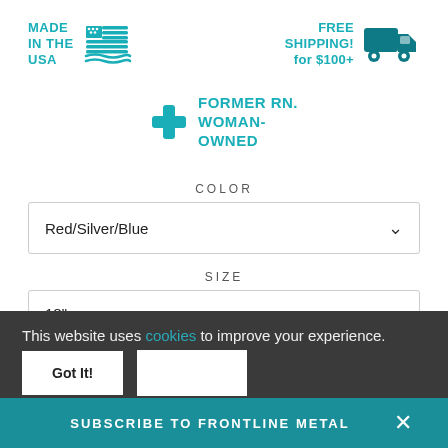[Figure (infographic): Made in the USA badge with American flag icon in teal]
[Figure (infographic): Free Shipping for $100+ badge with teal delivery truck icon]
[Figure (infographic): Former RN. Woman-Owned badge with teal plus/cross icon]
COLOR
Red/Silver/Blue
SIZE
18"
This website uses cookies to improve your experience.
Got It!
SUBSCRIBE TO FRONTLINE METAL